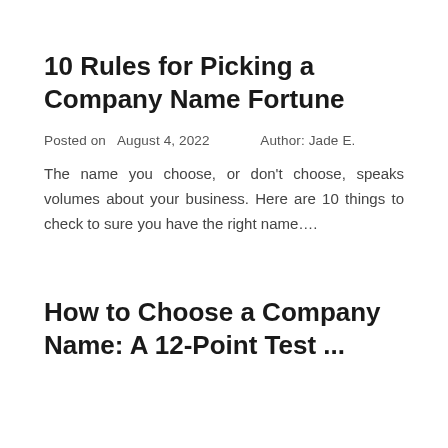10 Rules for Picking a Company Name Fortune
Posted on  August 4, 2022      Author: Jade E.
The name you choose, or don't choose, speaks volumes about your business. Here are 10 things to check to sure you have the right name….
How to Choose a Company Name: A 12-Point Test ...